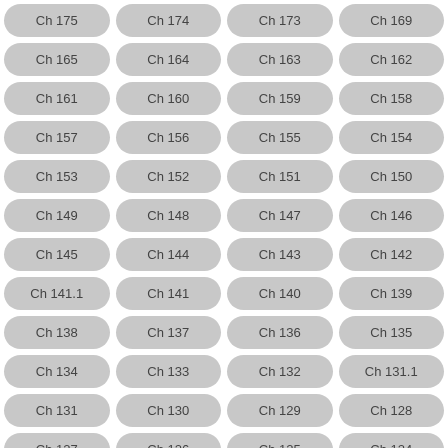Ch 175
Ch 174
Ch 173
Ch 169
Ch 165
Ch 164
Ch 163
Ch 162
Ch 161
Ch 160
Ch 159
Ch 158
Ch 157
Ch 156
Ch 155
Ch 154
Ch 153
Ch 152
Ch 151
Ch 150
Ch 149
Ch 148
Ch 147
Ch 146
Ch 145
Ch 144
Ch 143
Ch 142
Ch 141.1
Ch 141
Ch 140
Ch 139
Ch 138
Ch 137
Ch 136
Ch 135
Ch 134
Ch 133
Ch 132
Ch 131.1
Ch 131
Ch 130
Ch 129
Ch 128
Ch 127
Ch 126
Ch 125
Ch 124
Ch 123
Ch 122
Ch 121.1
Ch 121
Ch 120
Ch 119
Ch 118
Ch 117